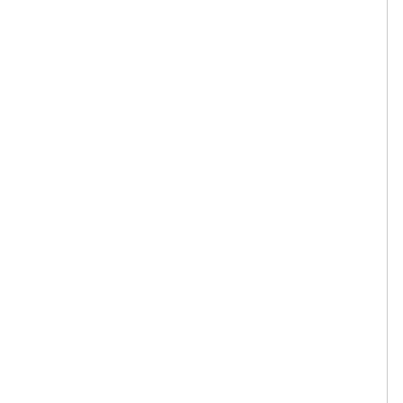To stop the Siebel Application Server on ...
1. See the commands above and En... stop_server siebel_server...
To monitor the Siebel Application Server ...
1. See the commands above and En... list_server siebel_server...
How to enable a Siebel Component Grou...
To enable the Siebel Component Group a...
1. Navigate to Site Map > Server Adm...
2. Click the Enterprise Component G...
3. In the top Enterprise Component G... want to enable.